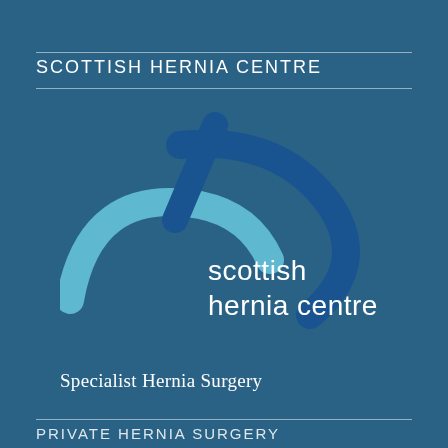SCOTTISH HERNIA CENTRE
[Figure (logo): Scottish Hernia Centre logo: abstract swooping curves in light blue and dark blue forming an X/arch shape, with text 'scottish hernia centre' in white below]
Specialist Hernia Surgery
PRIVATE HERNIA SURGERY